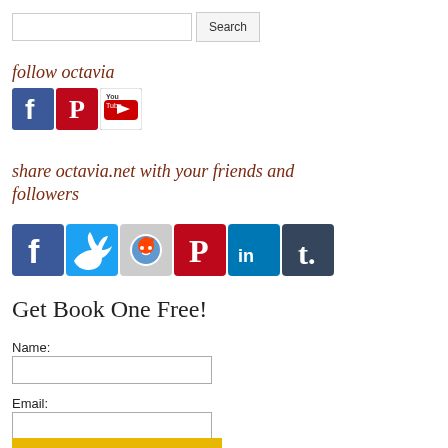[Figure (screenshot): Search bar with text input and Search button]
follow octavia
[Figure (infographic): Social media follow icons: Facebook, Pinterest, YouTube]
share octavia.net with your friends and followers
[Figure (infographic): Social media share icons: Facebook, Twitter, Reddit, Pinterest, LinkedIn, Tumblr]
Get Book One Free!
Name:
[Figure (screenshot): Name input field]
Email:
[Figure (screenshot): Email input field]
[Figure (screenshot): Send My Book button (yellow/gold)]